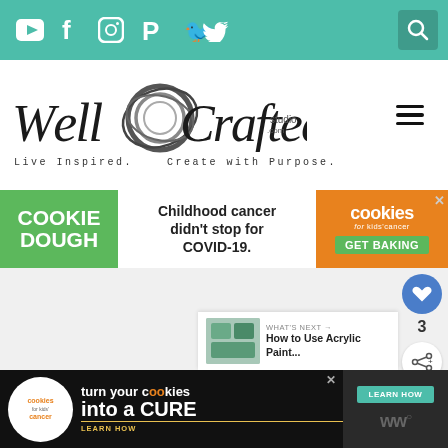Social media icons: YouTube, Facebook, Instagram, Pinterest, Twitter | Search
[Figure (logo): Well Crafted Studio logo with circular graphic. Tagline: Live Inspired. Create with Purpose.]
[Figure (screenshot): Cookie Dough advertisement for cookies for kids cancer. Text: COOKIE DOUGH | Childhood cancer didn't stop for COVID-19. | cookies for kids cancer GET BAKING]
[Figure (screenshot): Sidebar: heart/like button with count 3, share button. What's Next: How to Use Acrylic Paint...]
[Figure (screenshot): Bottom advertisement: cookies for kids cancer - turn your cookies into a CURE LEARN HOW]